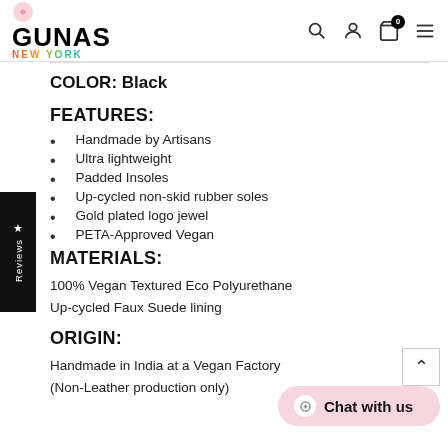GUNAS NEW YORK
COLOR: Black
FEATURES:
Handmade by Artisans
Ultra lightweight
Padded Insoles
Up-cycled non-skid rubber soles
Gold plated logo jewel
PETA-Approved Vegan
MATERIALS:
100% Vegan Textured Eco Polyurethane
Up-cycled Faux Suede lining
ORIGIN:
Handmade in India at a Vegan Factory (Non-Leather production only)